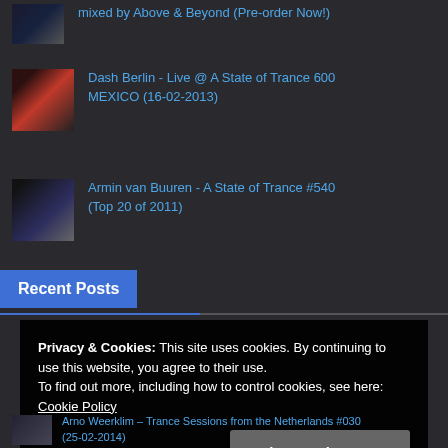mixed by Above & Beyond (Pre-order Now!)
[Figure (photo): Thumbnail of Dash Berlin live performance]
Dash Berlin - Live @ A State of Trance 600 MEXICO (16-02-2013)
[Figure (photo): Thumbnail of Armin van Buuren performing]
Armin van Buuren - A State of Trance #540 (Top 20 of 2011)
Recent Posts
Privacy & Cookies: This site uses cookies. By continuing to use this website, you agree to their use.
To find out more, including how to control cookies, see here: Cookie Policy
Close and accept
Arno Weerklim – Trance Sessions from the Netherlands #030 (25-02-2014)